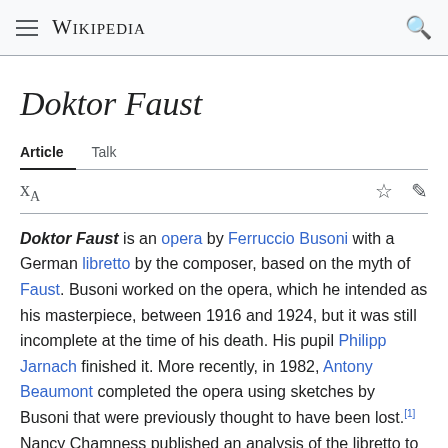Wikipedia
Doktor Faust
Article  Talk
Doktor Faust is an opera by Ferruccio Busoni with a German libretto by the composer, based on the myth of Faust. Busoni worked on the opera, which he intended as his masterpiece, between 1916 and 1924, but it was still incomplete at the time of his death. His pupil Philipp Jarnach finished it. More recently, in 1982, Antony Beaumont completed the opera using sketches by Busoni that were previously thought to have been lost.[1] Nancy Chamness published an analysis of the libretto to Doktor